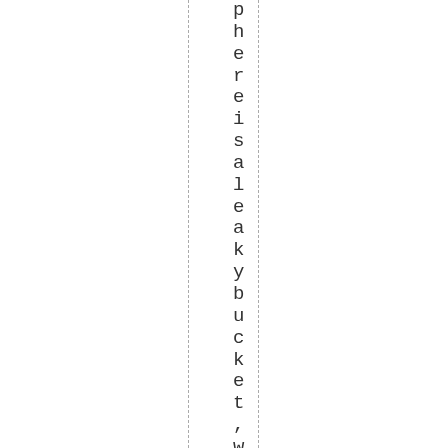phere is a leaky bucket, with hf